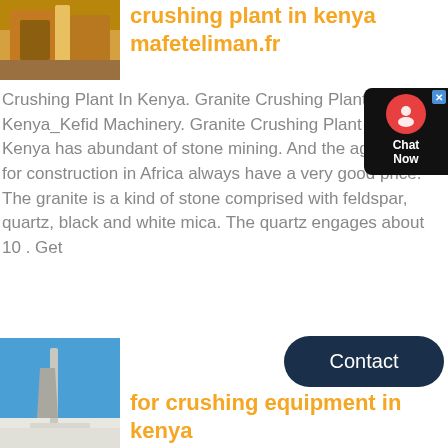[Figure (photo): Industrial crushing plant machinery with orange equipment]
crushing plant in kenya mafeteliman.fr
Crushing Plant In Kenya. Granite Crushing Plant in Kenya_Kefid Machinery. Granite Crushing Plant in Kenya Kenya has abundant of stone mining. And the aggregates for construction in Africa always have a very good price. The granite is a kind of stone comprised with feldspar, quartz, black and white mica. The quartz engages about 10 . Get
[Figure (screenshot): Live chat widget with red icon and dark background showing Chat Now]
Contact
[Figure (photo): Crushing equipment conveyor belt against blue sky with white aggregate material]
for crushing equipment in kenya